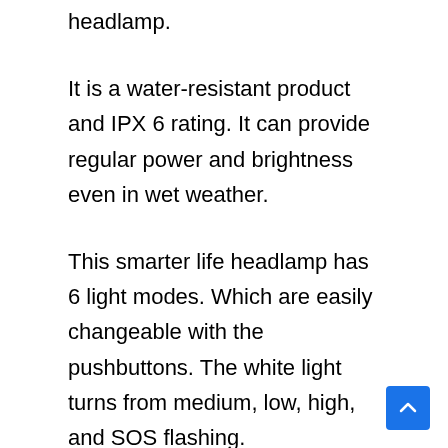headlamp.
It is a water-resistant product and IPX 6 rating. It can provide regular power and brightness even in wet weather.
This smarter life headlamp has 6 light modes. Which are easily changeable with the pushbuttons. The white light turns from medium, low, high, and SOS flashing.
With the high performance and outstanding brightness it provides, tasks like fishing, hunt climbing, or trail running are more pleasant.